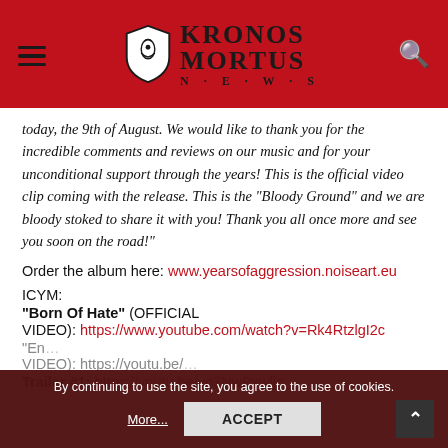Kronos Mortus News
today, the 9th of August. We would like to thank you for the incredible comments and reviews on our music and for your unconditional support through the years! This is the official video clip coming with the release. This is the “Bloody Ground” and we are bloody stoked to share it with you! Thank you all once more and see you soon on the road!”
Order the album here: www.yearsofaggression.noiseart.eu
ICYM:
“Born Of Hate” (OFFICIAL VIDEO): https://www.youtube.com/watch?v=Rk4RtzlgI2c
Trailer #1: https://youtu.be/vo3NwPxwljc